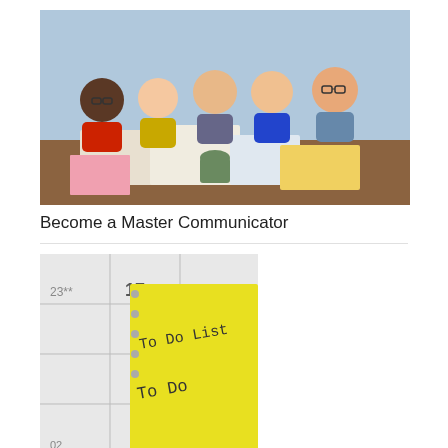[Figure (photo): Group of five young people sitting at a table, smiling and studying together with books and notebooks open. Collaborative learning scene.]
Become a Master Communicator
[Figure (photo): A yellow sticky note or notepad with handwritten text 'To Do List' placed on a calendar or planner showing '17'.]
How To Get Things Done